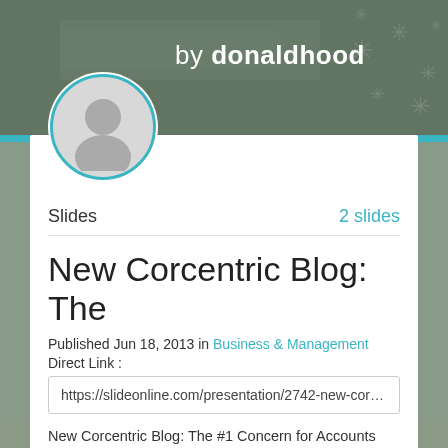[Figure (photo): Background blurred office/workspace photo with snowflake pattern overlay on right side]
by donaldhood
[Figure (illustration): Circular avatar/profile placeholder icon with teal border]
Slides   2 slides
New Corcentric Blog: The
Published Jun 18, 2013 in Business & Management
Direct Link :
https://slideonline.com/presentation/2742-new-corcentric-
New Corcentric Blog: The #1 Concern for Accounts Payable Departments... Read more